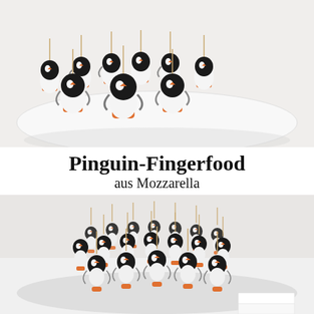[Figure (photo): Close-up photo of penguin-shaped finger food made from black olives, mozzarella balls, and carrot pieces arranged on a white plate. The penguins have toothpicks and are decorated with anchovy 'wings'.]
Pinguin-Fingerfood
aus Mozzarella
[Figure (photo): Photo of a large group of penguin finger food figures (black olives on mozzarella on carrot slices, skewered with toothpicks) arranged in a crowd on a white surface, viewed from a slightly elevated angle.]